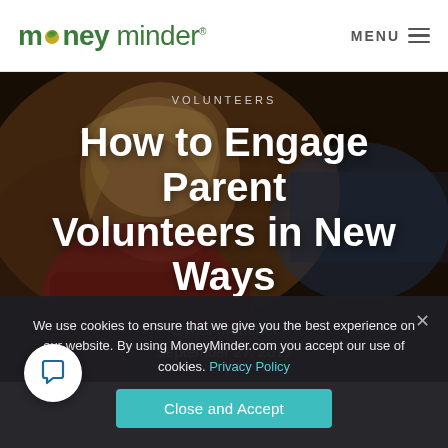money minder — MENU
[Figure (photo): Close-up photo of a child looking at a smartphone, seen from behind/side, with blurred background in a warm/dark tone. Text overlay with article category and title.]
VOLUNTEERS
How to Engage Parent Volunteers in New Ways
Cyndi Meuchel
September 27, 2019
We use cookies to ensure that we give you the best experience on our website. By using MoneyMinder.com you accept our use of cookies. Privacy Policy
Close and Accept